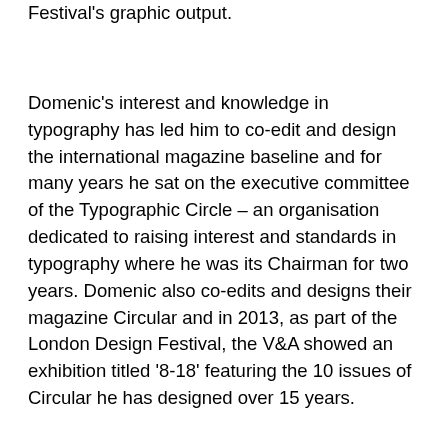Festival's graphic output.
Domenic's interest and knowledge in typography has led him to co-edit and design the international magazine baseline and for many years he sat on the executive committee of the Typographic Circle – an organisation dedicated to raising interest and standards in typography where he was its Chairman for two years. Domenic also co-edits and designs their magazine Circular and in 2013, as part of the London Design Festival, the V&A showed an exhibition titled '8-18' featuring the 10 issues of Circular he has designed over 15 years.